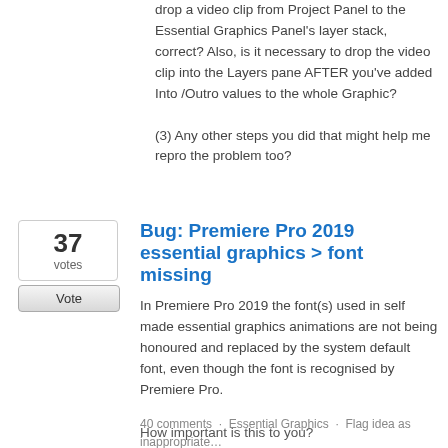drop a video clip from Project Panel to the Essential Graphics Panel's layer stack, correct? Also, is it necessary to drop the video clip into the Layers pane AFTER you've added Into /Outro values to the whole Graphic?

(3) Any other steps you did that might help me repro the problem too?
37 votes
Bug: Premiere Pro 2019 essential graphics > font missing
In Premiere Pro 2019 the font(s) used in self made essential graphics animations are not being honoured and replaced by the system default font, even though the font is recognised by Premiere Pro.
40 comments · Essential Graphics · Flag idea as inappropriate…
How important is this to you?